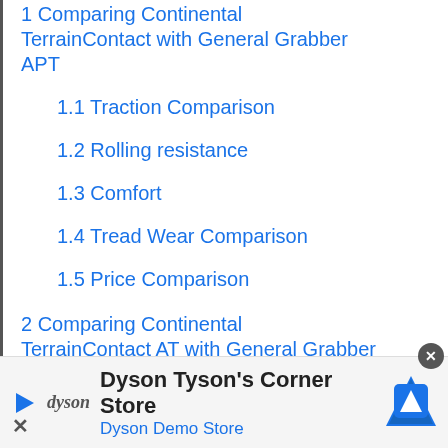1 Comparing Continental TerrainContact with General Grabber APT
1.1 Traction Comparison
1.2 Rolling resistance
1.3 Comfort
1.4 Tread Wear Comparison
1.5 Price Comparison
2 Comparing Continental TerrainContact AT with General Grabber ATX
[Figure (infographic): Advertisement banner for Dyson Tyson's Corner Store / Dyson Demo Store with navigation icon]